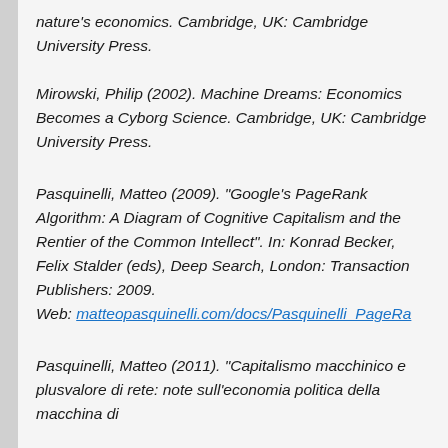nature's economics. Cambridge, UK: Cambridge University Press.
Mirowski, Philip (2002). Machine Dreams: Economics Becomes a Cyborg Science. Cambridge, UK: Cambridge University Press.
Pasquinelli, Matteo (2009). "Google's PageRank Algorithm: A Diagram of Cognitive Capitalism and the Rentier of the Common Intellect". In: Konrad Becker, Felix Stalder (eds), Deep Search, London: Transaction Publishers: 2009. Web: matteopasquinelli.com/docs/Pasquinelli_PageRa…
Pasquinelli, Matteo (2011). "Capitalismo macchinico e plusvalore di rete: note sull'economia politica della macchina di…"